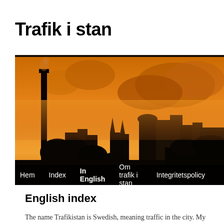Trafik i stan
[Figure (photo): City skyline silhouette at sunset/dusk with orange sky, showing buildings and a tall chimney or column on the left, with misty atmospheric haze.]
Hem   Index   In English   Om trafik i stan   Integritetspolicy
English index
The name Trafikistan is Swedish, meaning traffic in the city. My